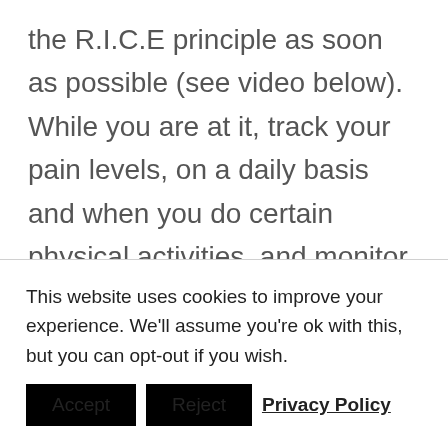the R.I.C.E principle as soon as possible (see video below). While you are at it, track your pain levels, on a daily basis and when you do certain physical activities, and monitor them until you are satisfied that you are ready for more serious physical activities. (It could be as simple as a scale of 1 to 10).
This website uses cookies to improve your experience. We'll assume you're ok with this, but you can opt-out if you wish. Accept Reject Privacy Policy